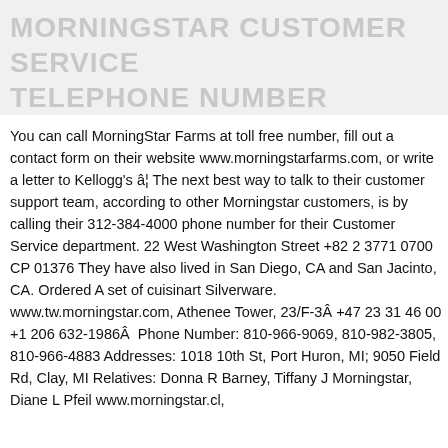MORNINGSTAR CUSTOMER SERVICE TELEPHONE NUMBER
You can call MorningStar Farms at toll free number, fill out a contact form on their website www.morningstarfarms.com, or write a letter to Kellogg's â¦ The next best way to talk to their customer support team, according to other Morningstar customers, is by calling their 312-384-4000 phone number for their Customer Service department. 22 West Washington Street +82 2 3771 0700 CP 01376 They have also lived in San Diego, CA and San Jacinto, CA. Ordered A set of cuisinart Silverware. www.tw.morningstar.com, Athenee Tower, 23/F-3Â +47 23 31 46 00 +1 206 632-1986Â  Phone Number: 810-966-9069, 810-982-3805, 810-966-4883 Addresses: 1018 10th St, Port Huron, MI; 9050 Field Rd, Clay, MI Relatives: Donna R Barney, Tiffany J Morningstar, Diane L Pfeil www.morningstar.cl,